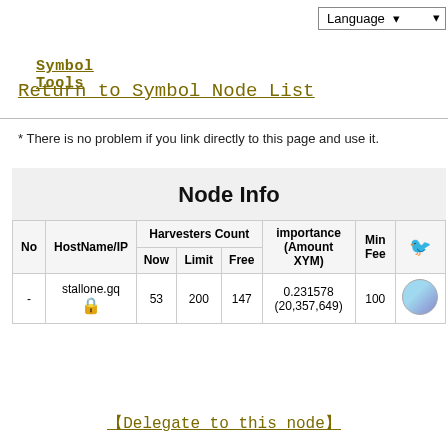Language ▾
Symbol Tools
Return to Symbol Node List
* There is no problem if you link directly to this page and use it.
| No | HostName/IP | Now | Limit | Free | importance (Amount XYM) | Min Fee |  |
| --- | --- | --- | --- | --- | --- | --- | --- |
| - | stallone.gq 🔒 | 53 | 200 | 147 | 0.231578 (20,357,649) | 100 | [avatar] |
【Delegate to this node】